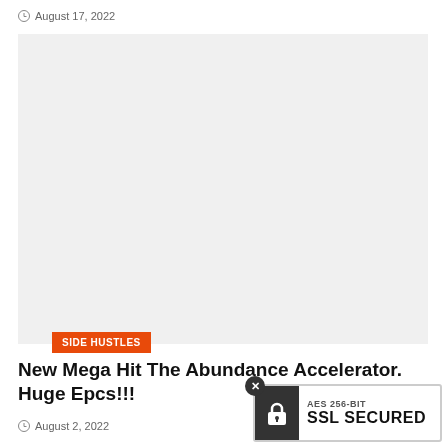August 17, 2022
[Figure (photo): Large light gray placeholder image with an orange 'SIDE HUSTLES' category badge in the lower left corner]
New Mega Hit The Abundance Accelerator. Huge Epcs!!!
August 2, 2022
[Figure (infographic): SSL Secured badge with lock icon, AES 256-BIT SSL SECURED text, and a close (X) button]